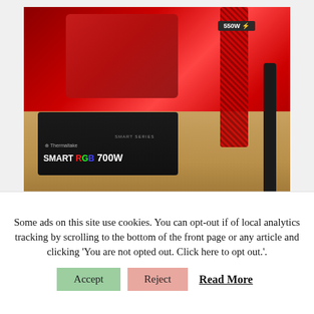[Figure (photo): A Thermaltake Smart RGB 700W power supply unit on a wooden desk, with red and black cables. In the background, another power supply labeled 550W is visible.]
The external working power supply did not
Some ads on this site use cookies. You can opt-out if of local analytics tracking by scrolling to the bottom of the front page or any article and clicking 'You are not opted out. Click here to opt out.'.